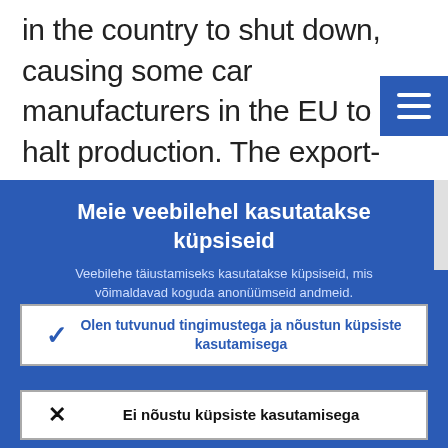in the country to shut down, causing some car manufacturers in the EU to halt production. The export-oriented agricultu sector has also been affected
Meie veebilehel kasutatakse küpsiseid
Veebilehe täiustamiseks kasutatakse küpsiseid, mis võimaldavad koguda anonüümseid andmeid.
▶ Lähemalt küpsiste kasutamise kohta
✓ Olen tutvunud tingimustega ja nõustun küpsiste kasutamisega
✗ Ei nõustu küpsiste kasutamisega